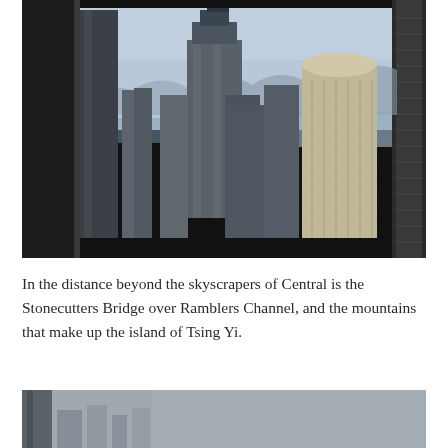[Figure (photo): View through a dark-framed window of Hong Kong's Central district skyline, showing skyscrapers including a prominent round-topped tower, with harbor water and mountains visible in the hazy background.]
In the distance beyond the skyscrapers of Central is the Stonecutters Bridge over Ramblers Channel, and the mountains that make up the island of Tsing Yi.
[Figure (photo): Partial view of Hong Kong skyline in hazy/smoggy conditions, showing building tops and grey sky.]